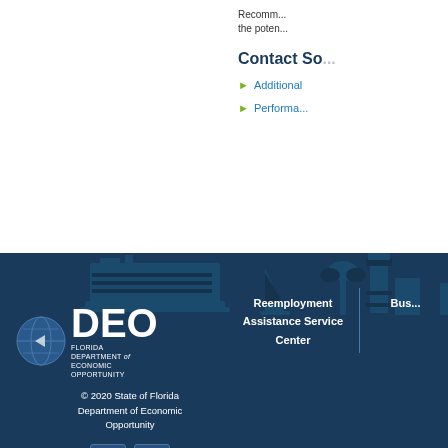Recommend the potential
Contact So
Additional
Performa
[Figure (illustration): Flock of birds silhouette flying]
[Figure (illustration): Florida DEO footer with skyline silhouette including cruise ship, sailboat, lighthouse, and palm trees. Contains DEO logo, copyright text, social media icons, and Reemployment Assistance Service Center label.]
Reemployment Assistance Service Center
Bus
© 2020 State of Florida Department of Economic Opportunity
© 2020 State of Florida Department of Economic Opportunity